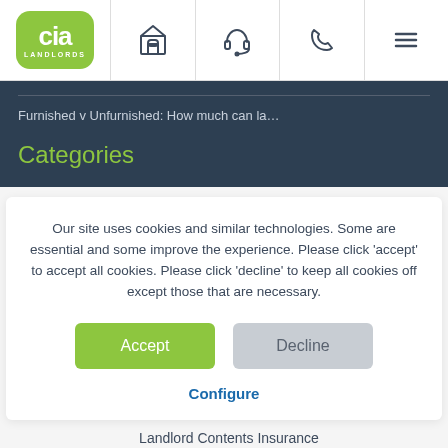[Figure (logo): CIA Landlords logo — green rounded square with 'cia' in white bold text and 'LANDLORDS' in small white caps below]
Navigation bar with icons: building/mailbox, headset, phone, hamburger menu
Furnished v Unfurnished: How much can la…
Categories
Our site uses cookies and similar technologies. Some are essential and some improve the experience. Please click 'accept' to accept all cookies. Please click 'decline' to keep all cookies off except those that are necessary.
Accept
Decline
Configure
Landlord Contents Insurance